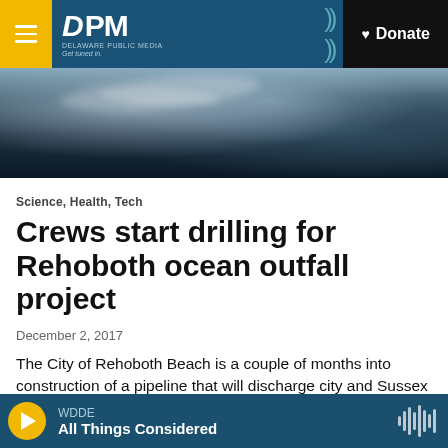DPM Delaware Public Media | Donate
[Figure (photo): Aerial or close-up photo of dark ocean water with white foam/waves visible]
Science, Health, Tech
Crews start drilling for Rehoboth ocean outfall project
December 2, 2017
The City of Rehoboth Beach is a couple of months into construction of a pipeline that will discharge city and Sussex County treated wastewater into
WDDE All Things Considered